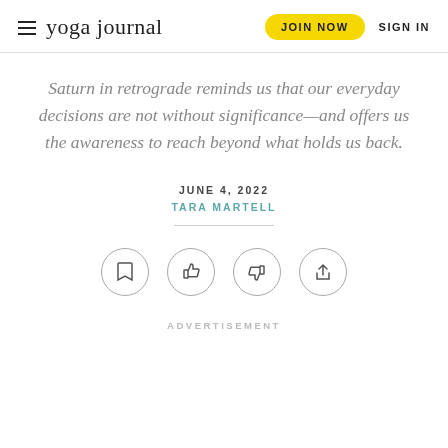yoga journal | JOIN NOW | SIGN IN
Saturn in retrograde reminds us that our everyday decisions are not without significance—and offers us the awareness to reach beyond what holds us back.
JUNE 4, 2022
TARA MARTELL
[Figure (other): Four circular icon buttons: bookmark, thumbs up, thumbs down, share]
ADVERTISEMENT